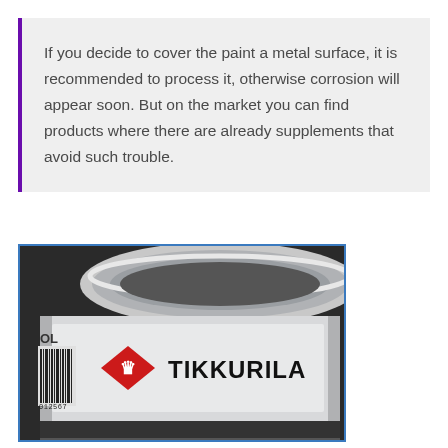If you decide to cover the paint a metal surface, it is recommended to process it, otherwise corrosion will appear soon. But on the market you can find products where there are already supplements that avoid such trouble.
[Figure (photo): Close-up photo of a Tikkurila paint can showing the silver lid and label with the red diamond Tikkurila logo and brand name, plus a barcode on the left side.]